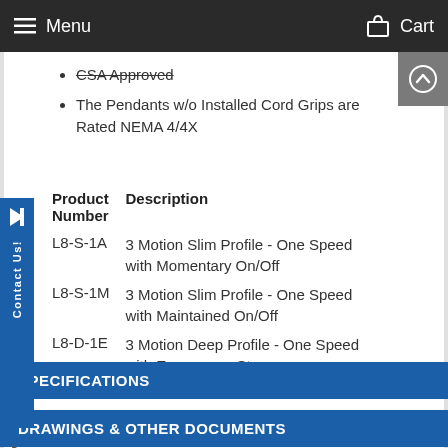Menu   Cart
CSA Approved
The Pendants w/o Installed Cord Grips are Rated NEMA 4/4X
| Product Number | Description |
| --- | --- |
| L8-S-1A | 3 Motion Slim Profile - One Speed with Momentary On/Off |
| L8-S-1M | 3 Motion Slim Profile - One Speed with Maintained On/Off |
| L8-D-1E | 3 Motion Deep Profile - One Speed with Emergency Stop |
SPECIFICATIONS
DRAWINGS & OTHER DOCUMENTS
STORE POLICIES